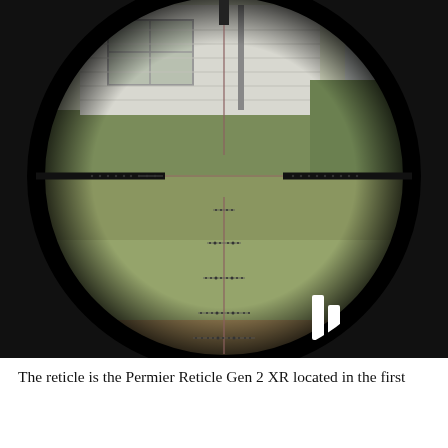[Figure (photo): Rifle scope view through a reticle showing a house with white siding and a lawn. The reticle is the Permier Reticle Gen 2 XR with crosshairs and mil-dot sub-tensions visible. The circular field of view is bordered by black vignetting. A white distance indicator or marker is visible in the lower right portion of the image.]
The reticle is the Permier Reticle Gen 2 XR located in the first